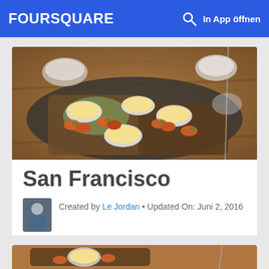FOURSQUARE  In App öffnen
[Figure (photo): Food photo showing spring rolls and dipping sauce bowls arranged on wooden serving boards on a restaurant table]
San Francisco
Created by Le Jordan • Updated On: Juni 2, 2016
Teilen  Tweet
[Figure (photo): Partial view of food photo at bottom of page, same dish as above]